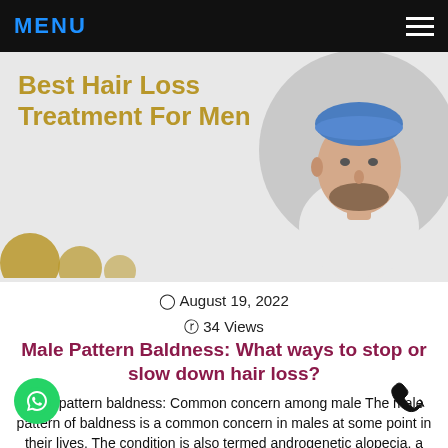MENU
[Figure (photo): Circular portrait photo of a bearded man with a blue cap on a grey background, placed in the top-right of the hero banner]
Best Hair Loss Treatment For Men
August 19, 2022
34 Views
Male Pattern Baldness: What ways to stop or slow down hair loss?
Male pattern baldness: Common concern among male The male pattern of baldness is a common concern in males at some point in their lives. The condition is also termed androgenetic alopecia, a major health concern because of its negative impact on the overall personality. There's a huge possibility some experience baldness to a great extent [...]